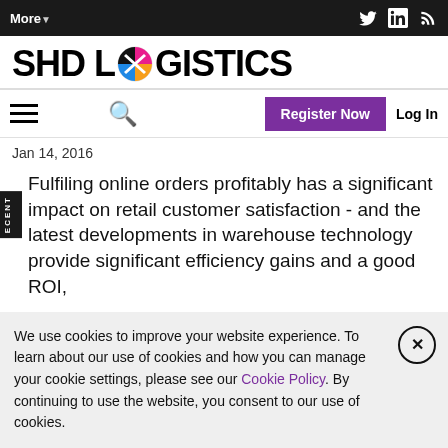More▼
[Figure (logo): SHD Logistics logo with colorful circular icon replacing the letter O in LOGISTICS]
Register Now  Log In
Jan 14, 2016
Fulfiling online orders profitably has a significant impact on retail customer satisfaction - and the latest developments in warehouse technology provide significant efficiency gains and a good ROI,
We use cookies to improve your website experience. To learn about our use of cookies and how you can manage your cookie settings, please see our Cookie Policy. By continuing to use the website, you consent to our use of cookies.